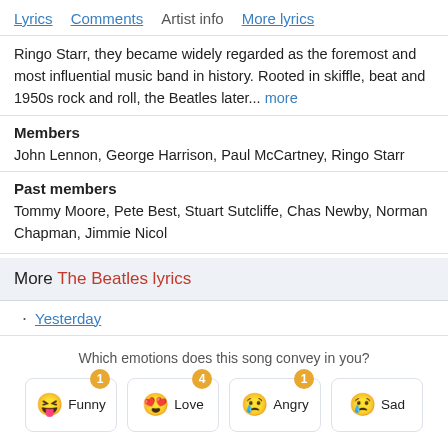Lyrics  Comments  Artist info  More lyrics
Ringo Starr, they became widely regarded as the foremost and most influential music band in history. Rooted in skiffle, beat and 1950s rock and roll, the Beatles later... more
Members
John Lennon, George Harrison, Paul McCartney, Ringo Starr
Past members
Tommy Moore, Pete Best, Stuart Sutcliffe, Chas Newby, Norman Chapman, Jimmie Nicol
More The Beatles lyrics
Yesterday
Which emotions does this song convey in you?
Funny (1)  Love (4)  Angry (1)  Sad